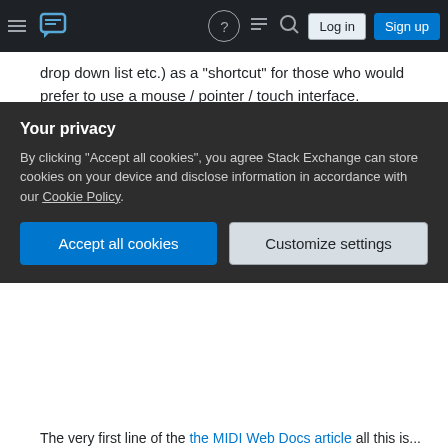Stack Exchange navigation bar with hamburger, logo, help, chat, search icons, Log in and Sign up buttons
drop down list etc.) as a "shortcut" for those who would prefer to use a mouse / pointer / touch interface.
Share
Improve this answer
Follow
answered Apr 30, 2014 at 8:23
Squig
312 ○1 ◆9
Add a comment
I don't entirely disagree with many of the answers already provided here. We should generally be
Your privacy
By clicking "Accept all cookies", you agree Stack Exchange can store cookies on your device and disclose information in accordance with our Cookie Policy.
Accept all cookies
Customize settings
The very first line of the the MIDI Web Docs article all this is...